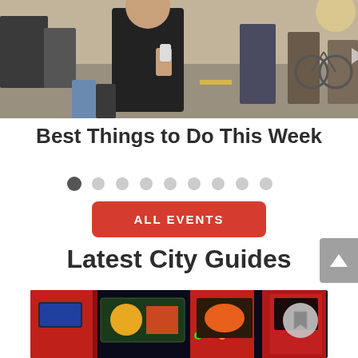[Figure (photo): Street scene with people walking outdoors in sunny weather, person in black tank top holding a drink in foreground]
Best Things to Do This Week
[Figure (infographic): Pagination dots row: 1 dark dot followed by 8 light dots]
ALL EVENTS
Latest City Guides
[Figure (photo): Colorful lit-up arcade or amusement ride with red and green lights and illustrated panels at night]